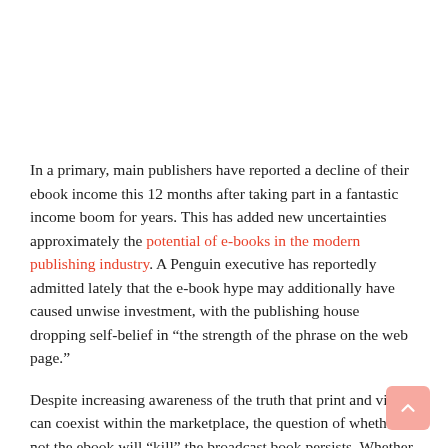In a primary, main publishers have reported a decline of their ebook income this 12 months after taking part in a fantastic income boom for years. This has added new uncertainties approximately the potential of e-books in the modern publishing industry. A Penguin executive has reportedly admitted lately that the e-book hype may additionally have caused unwise investment, with the publishing house dropping self-belief in “the strength of the phrase on the web page.”
Despite increasing awareness of the truth that print and virtual can coexist within the marketplace, the question of whether or not the ebook will “kill” the broadcast book persists. Whether the goal is to expect or dismiss this